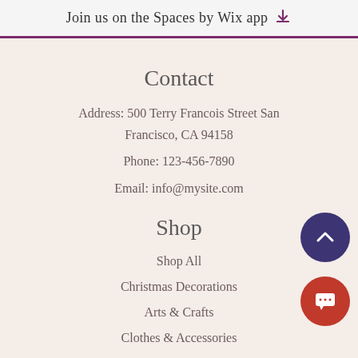Join us on the Spaces by Wix app ⬇
Contact
Address: 500 Terry Francois Street San Francisco, CA 94158
Phone: 123-456-7890
Email: info@mysite.com
Shop
Shop All
Christmas Decorations
Arts & Crafts
Clothes & Accessories
Kids